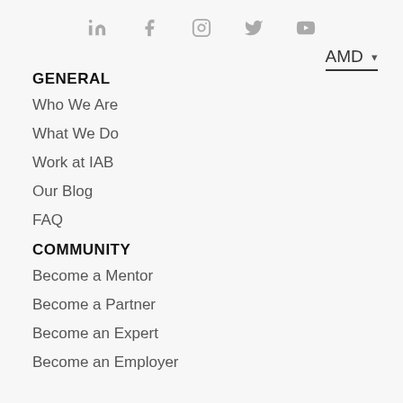Social media icons: LinkedIn, Facebook, Instagram, Twitter, YouTube
AMD ▾
GENERAL
Who We Are
What We Do
Work at IAB
Our Blog
FAQ
COMMUNITY
Become a Mentor
Become a Partner
Become an Expert
Become an Employer